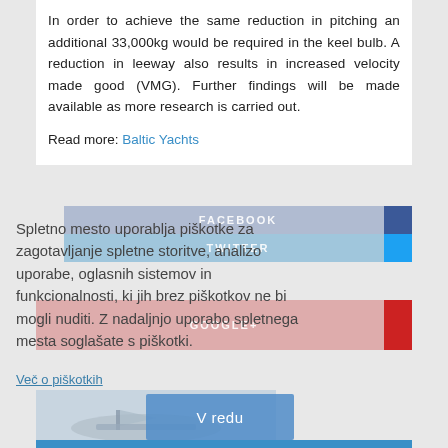In order to achieve the same reduction in pitching an additional 33,000kg would be required in the keel bulb. A reduction in leeway also results in increased velocity made good (VMG). Further findings will be made available as more research is carried out.
Read more: Baltic Yachts
[Figure (screenshot): Social share buttons (Facebook, Twitter, Google+) overlaid with a Slovenian cookie consent popup. The popup contains text about cookie usage and a blue 'V redu' (OK) button. Below is a partially visible boat image.]